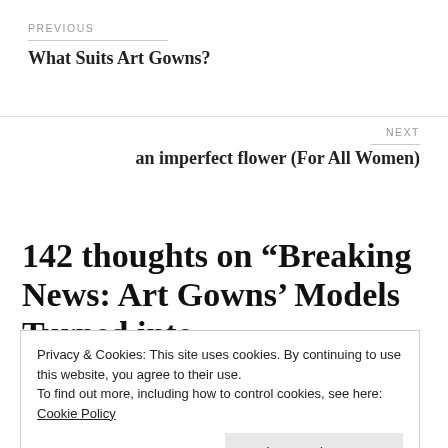PREVIOUS
What Suits Art Gowns?
NEXT
an imperfect flower (For All Women)
142 thoughts on “Breaking News: Art Gowns’ Models Turned into
Privacy & Cookies: This site uses cookies. By continuing to use this website, you agree to their use.
To find out more, including how to control cookies, see here: Cookie Policy
Close and accept
Date